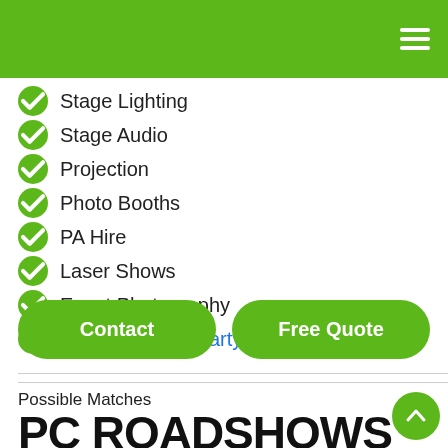Navigation header bar with hamburger menu
Stage Lighting
Stage Audio
Projection
Photo Booths
PA Hire
Laser Shows
Event Photography
... plus 30 other party services
Contact | Free Quote
Possible Matches
PC ROADSHOWS